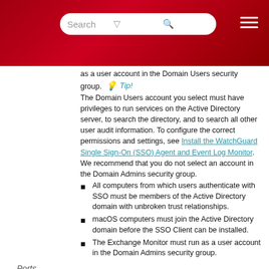[Figure (screenshot): Red header bar with search field, filter icon, magnifying glass icon, and hamburger menu icon]
as a user account in the Domain Users security group. Tip! The Domain Users account you select must have privileges to run services on the Active Directory server, to search the directory, and to search all other user audit information. To configure the correct permissions and settings, see Install the WatchGuard Single Sign-On (SSO) Agent and Event Log Monitor. We recommend that you do not select an account in the Domain Admins security group.
All computers from which users authenticate with SSO must be members of the Active Directory domain with unbroken trust relationships.
macOS computers must join the Active Directory domain before the SSO Client can be installed.
The Exchange Monitor must run as a user account in the Domain Admins security group.
Ports
TCP port 445 (port for SMB) must be open on the client computers.
TCP port 4116 must be open on the client computers